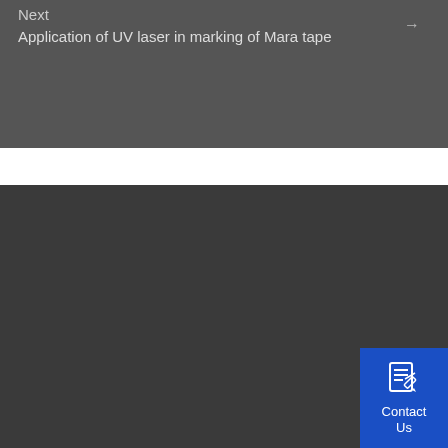Next
Application of UV laser in marking of Mara tape
[Figure (other): Contact Us button with document/edit icon on blue background in bottom-right corner]